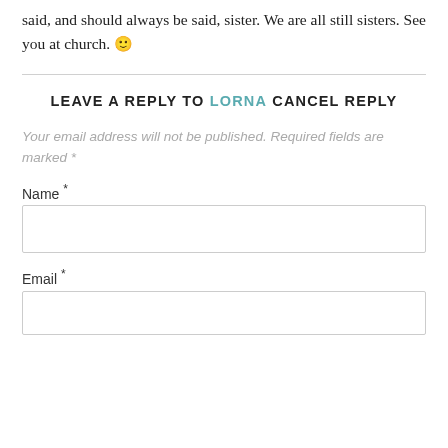said, and should always be said, sister. We are all still sisters. See you at church. 🙂
LEAVE A REPLY TO LORNA CANCEL REPLY
Your email address will not be published. Required fields are marked *
Name *
Email *